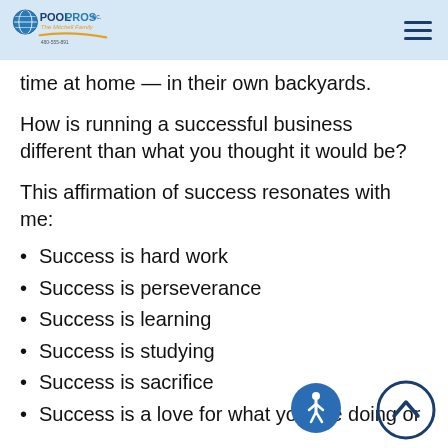Pool Pros Inc. The Mitchell Family
time at home — in their own backyards.
How is running a successful business different than what you thought it would be?
This affirmation of success resonates with me:
Success is hard work
Success is perseverance
Success is learning
Success is studying
Success is sacrifice
Success is a love for what you are doing or